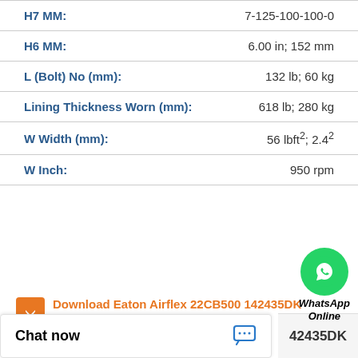| Property | Value |
| --- | --- |
| H7 MM: | 7-125-100-100-0 |
| H6 MM: | 6.00 in; 152 mm |
| L (Bolt) No (mm): | 132 lb; 60 kg |
| Lining Thickness Worn (mm): | 618 lb; 280 kg |
| W Width (mm): | 56 lbft²; 2.4…² |
| W Inch: | 950 rpm |
[Figure (logo): WhatsApp green circular logo with phone icon, and text 'WhatsApp Online' below]
Download Eaton Airflex 22CB500 142435DK Element Air Clutch Brakes Spec Sheet
Chat now